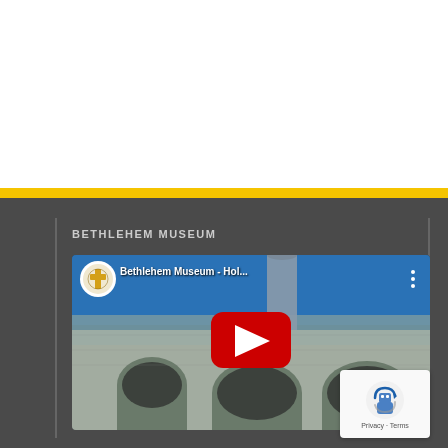BETHLEHEM MUSEUM
[Figure (screenshot): YouTube video thumbnail for 'Bethlehem Museum - Hol...' showing a stone building with arches and a red YouTube play button overlay, with channel icon]
[Figure (logo): reCAPTCHA badge with blue robot icon and 'Privacy - Terms' text]